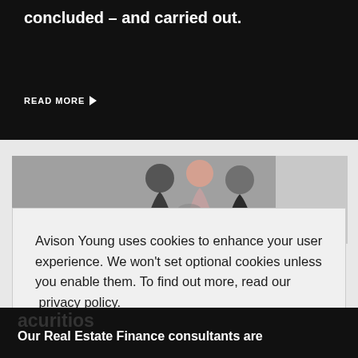concluded – and carried out.
READ MORE ▶
[Figure (photo): Overhead view of business people shaking hands in a corridor]
Avison Young uses cookies to enhance your user experience. We won't set optional cookies unless you enable them. To find out more, read our privacy policy.
Do not allow cookies
Allow cookies
Our Real Estate Finance consultants are